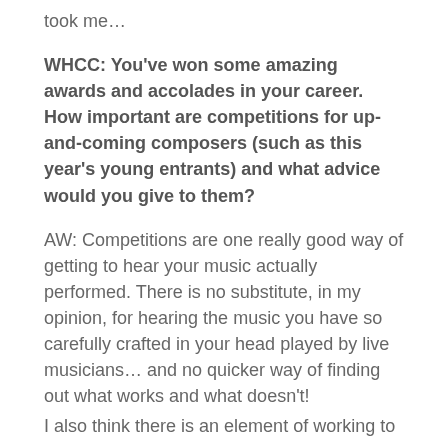took me…
WHCC: You've won some amazing awards and accolades in your career. How important are competitions for up-and-coming composers (such as this year's young entrants) and what advice would you give to them?
AW: Competitions are one really good way of getting to hear your music actually performed. There is no substitute, in my opinion, for hearing the music you have so carefully crafted in your head played by live musicians… and no quicker way of finding out what works and what doesn't!
I also think there is an element of working to a